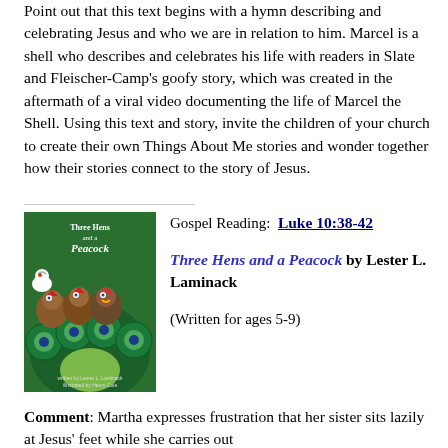Point out that this text begins with a hymn describing and celebrating Jesus and who we are in relation to him. Marcel is a shell who describes and celebrates his life with readers in Slate and Fleischer-Camp's goofy story, which was created in the aftermath of a viral video documenting the life of Marcel the Shell. Using this text and story, invite the children of your church to create their own Things About Me stories and wonder together how their stories connect to the story of Jesus.
[Figure (photo): Book cover of 'Three Hens and a Peacock' showing three cartoon hens and a peacock with colorful feathers]
Gospel Reading: Luke 10:38-42
Three Hens and a Peacock by Lester L. Laminack
(Written for ages 5-9)
Comment: Martha expresses frustration that her sister sits lazily at Jesus' feet while she carries out